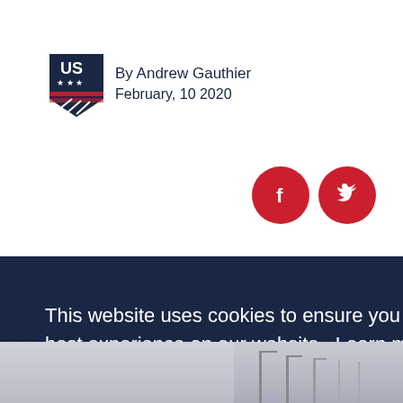[Figure (logo): US Ski and Snowboard logo — shield with US text, stars, and red/white stripes]
By Andrew Gauthier
February, 10 2020
[Figure (other): Red circular Facebook icon and red circular Twitter icon]
This website uses cookies to ensure you get the best experience on our website. Learn more
Got it!
[Figure (photo): Partial snowy landscape photo visible at bottom of page with poles/lights]